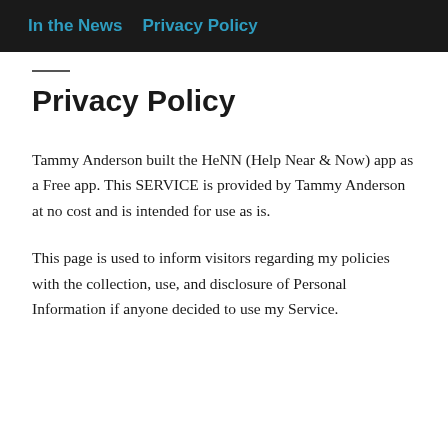In the News   Privacy Policy
Privacy Policy
Tammy Anderson built the HeNN (Help Near & Now) app as a Free app. This SERVICE is provided by Tammy Anderson at no cost and is intended for use as is.
This page is used to inform visitors regarding my policies with the collection, use, and disclosure of Personal Information if anyone decided to use my Service.